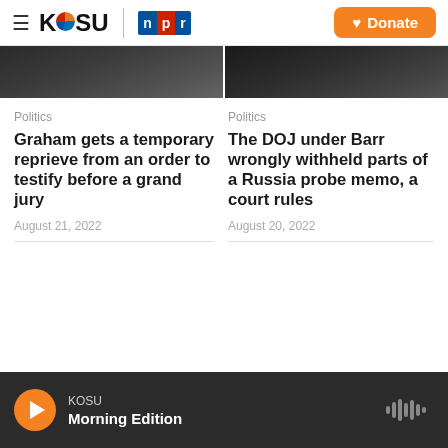KOSU | NPR  Donate
[Figure (photo): Two partial photo thumbnails side by side — left shows a person in a suit, right shows another person, both cropped news article images]
Politics
Graham gets a temporary reprieve from an order to testify before a grand jury
August 21, 2022
Politics
The DOJ under Barr wrongly withheld parts of a Russia probe memo, a court rules
August 20, 2022
KOSU Morning Edition